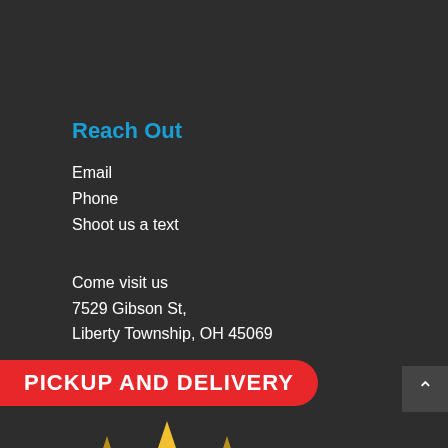Reach Out
Email
Phone
Shoot us a text
Come visit us
7529 Gibson St,
Liberty Township, OH 45069
Review us on Google
[Figure (illustration): Gold star cluster with 'Review Us' text badge, partially visible Google logo below]
PICKUP AND DELIVERY